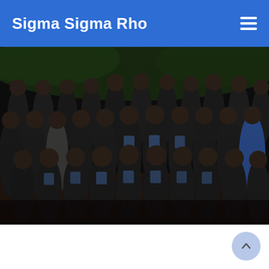Sigma Sigma Rho
[Figure (photo): Group photo of Sigma Sigma Rho sorority members posing outdoors at night, many wearing black jackets with Greek letters, in front of a brick wall with greenery in background]